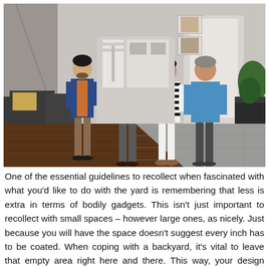[Figure (photo): Four people standing in a renovated home entryway/living area. Two men on the left side, one wearing a blue blazer and one in a pink shirt. A woman in a black and white striped shirt and white pants, and a man in a blue polo shirt on the right. The room features dark hardwood flooring transitioning to gray tile, modern furniture including dark gray chairs, and a plant near the right wall.]
One of the essential guidelines to recollect when fascinated with what you'd like to do with the yard is remembering that less is extra in terms of bodily gadgets. This isn't just important to recollect with small spaces – however large ones, as nicely. Just because you will have the space doesn't suggest every inch has to be coated. When coping with a backyard, it's vital to leave that empty area right here and there. This way, your design won't become overwhelming and your yard won't become cluttered. In spite of everything, it is a yard and when you have pets or kids – giving them sufficient room to enjoy the yard itself and in addition